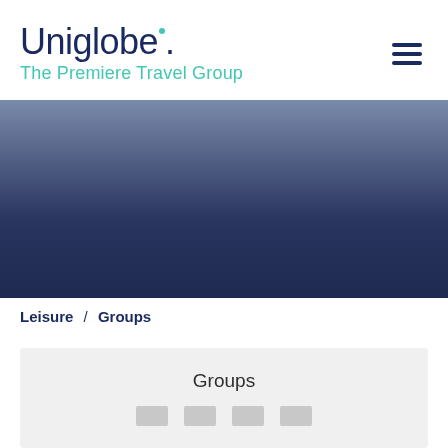[Figure (logo): Uniglobe. The Premiere Travel Group logo with teal dot and teal tagline, dark navy wordmark]
[Figure (illustration): Hamburger menu icon (three horizontal dark navy lines) in top right corner]
[Figure (photo): Hero banner image with dark blue-grey gradient background, appears to be a travel/sky scene]
Leisure / Groups
Groups